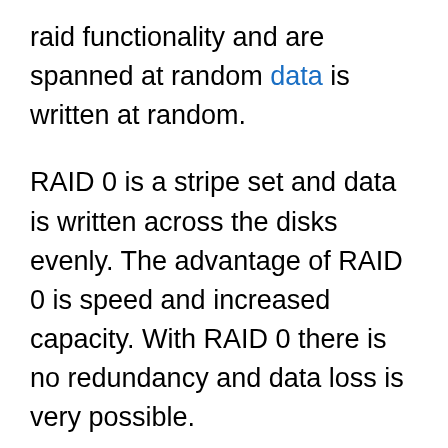raid functionality and are spanned at random data is written at random.
RAID 0 is a stripe set and data is written across the disks evenly. The advantage of RAID 0 is speed and increased capacity. With RAID 0 there is no redundancy and data loss is very possible.
RAID 1 is a mirrored set and data is mirrored from one drive to another. The advantage of RAID 1 is data redundancy as each piece of data is written to both disks. The disadvantage of RAID 1 is write speed is decreased as compared to RAID 0 due to the write operation is performed on both disks. RAID 1 capacity is that of the smallest disk.